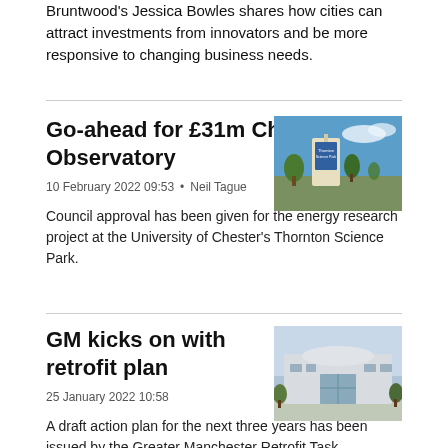Bruntwood's Jessica Bowles shares how cities can attract investments from innovators and be more responsive to changing business needs.
Go-ahead for £31m Cheshire Observatory
10 February 2022 09:53 • Neil Tague
[Figure (photo): Photo of Thornton Science Park entrance sign with blue sky and trees]
Council approval has been given for the energy research project at the University of Chester's Thornton Science Park.
GM kicks on with retrofit plan
25 January 2022 10:58
[Figure (photo): Photo of a modern white building facade with glass entrance]
A draft action plan for the next three years has been issued by the Greater Manchester Retrofit Task